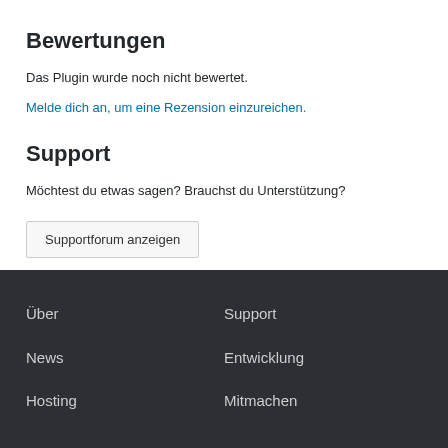Bewertungen
Das Plugin wurde noch nicht bewertet.
Melde dich an, um eine Rezension einzureichen.
Support
Möchtest du etwas sagen? Brauchst du Unterstützung?
Supportforum anzeigen
Über
Support
News
Entwicklung
Hosting
Mitmachen